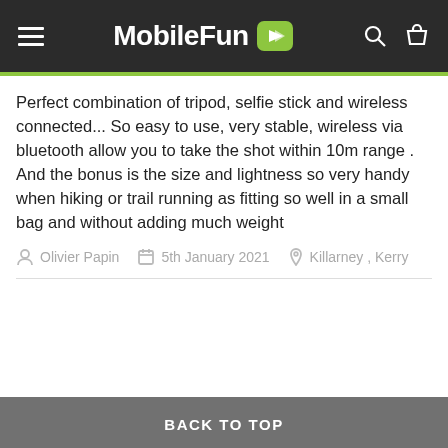MobileFun
Perfect combination of tripod, selfie stick and wireless connected... So easy to use, very stable, wireless via bluetooth allow you to take the shot within 10m range . And the bonus is the size and lightness so very handy when hiking or trail running as fitting so well in a small bag and without adding much weight
Olivier Papin   5th January 2021   Killarney , Kerry
BACK TO TOP
🇺🇸 Looks like you're in United States...
SHOP THERE
DISMISS